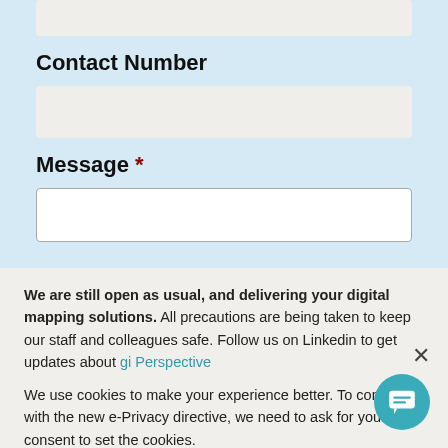[Input field - top partial]
Contact Number
[Input field - contact number]
Message *
[Textarea - message]
We are still open as usual, and delivering your digital mapping solutions. All precautions are being taken to keep our staff and colleagues safe. Follow us on Linkedin to get updates about gi Perspective
We use cookies to make your experience better. To comply with the new e-Privacy directive, we need to ask for your consent to set the cookies. Learn more
Accept & Continue